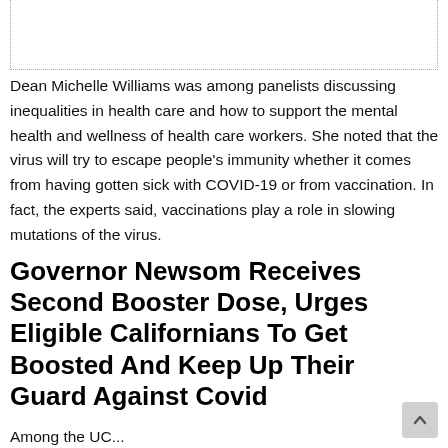Dean Michelle Williams was among panelists discussing inequalities in health care and how to support the mental health and wellness of health care workers. She noted that the virus will try to escape people's immunity whether it comes from having gotten sick with COVID-19 or from vaccination. In fact, the experts said, vaccinations play a role in slowing mutations of the virus.
Governor Newsom Receives Second Booster Dose, Urges Eligible Californians To Get Boosted And Keep Up Their Guard Against Covid
Among the UC...